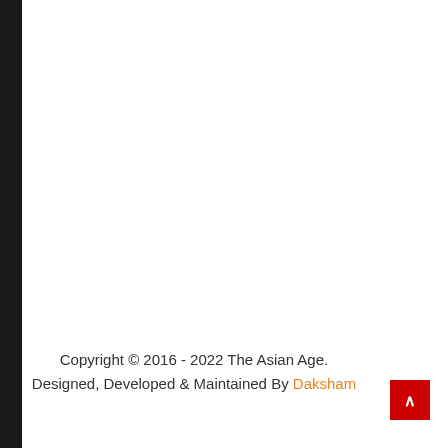Copyright © 2016 - 2022 The Asian Age. Designed, Developed & Maintained By Daksham